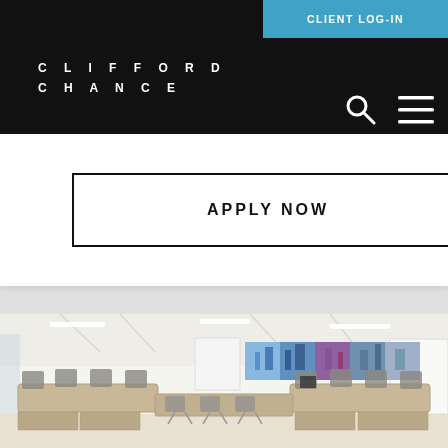CLIFFORD CHANCE
CLIENT LOG-IN
APPLY NOW
[Figure (photo): Modern corporate conference room with U-shaped table arrangement, grey chairs, white ceiling with recessed lighting, and a panoramic cityscape artwork on the back wall]